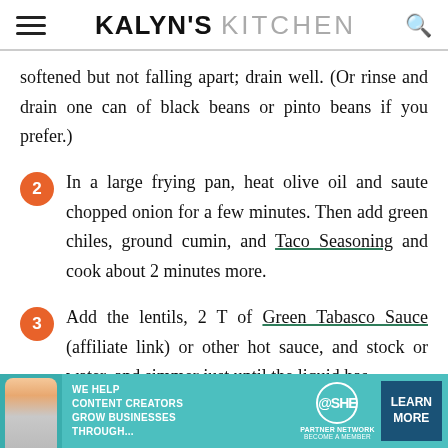KALYN'S KITCHEN
softened but not falling apart; drain well. (Or rinse and drain one can of black beans or pinto beans if you prefer.)
2. In a large frying pan, heat olive oil and saute chopped onion for a few minutes. Then add green chiles, ground cumin, and Taco Seasoning and cook about 2 minutes more.
3. Add the lentils, 2 T of Green Tabasco Sauce (affiliate link) or other hot sauce, and stock or water, and simmer just until the liquid has
[Figure (advertisement): SHE Partner Network advertisement banner: WE HELP CONTENT CREATORS GROW BUSINESSES THROUGH... BECOME A MEMBER. LEARN MORE button.]